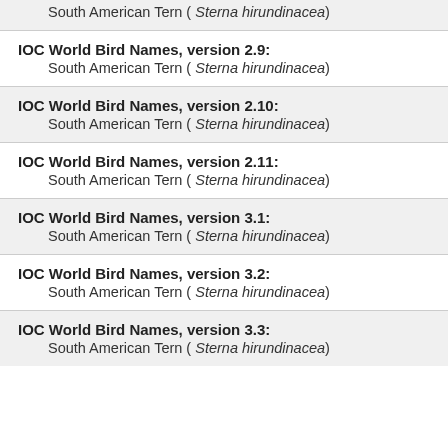South American Tern ( Sterna hirundinacea)
IOC World Bird Names, version 2.9:
South American Tern ( Sterna hirundinacea)
IOC World Bird Names, version 2.10:
South American Tern ( Sterna hirundinacea)
IOC World Bird Names, version 2.11:
South American Tern ( Sterna hirundinacea)
IOC World Bird Names, version 3.1:
South American Tern ( Sterna hirundinacea)
IOC World Bird Names, version 3.2:
South American Tern ( Sterna hirundinacea)
IOC World Bird Names, version 3.3:
South American Tern ( Sterna hirundinacea)